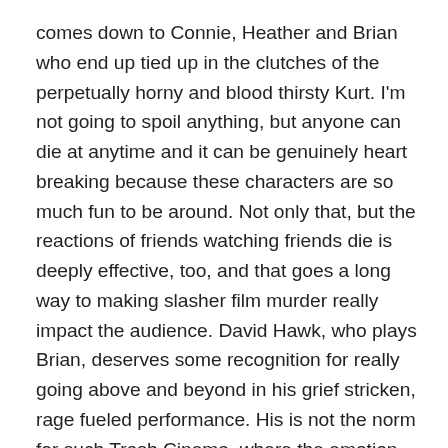comes down to Connie, Heather and Brian who end up tied up in the clutches of the perpetually horny and blood thirsty Kurt. I'm not going to spoil anything, but anyone can die at anytime and it can be genuinely heart breaking because these characters are so much fun to be around. Not only that, but the reactions of friends watching friends die is deeply effective, too, and that goes a long way to making slasher film murder really impact the audience. David Hawk, who plays Brian, deserves some recognition for really going above and beyond in his grief stricken, rage fueled performance. His is not the norm for such Trash Cinema, where the emotion feels greatly genuine and I found deeply unsettling. I began Evil of the Night laughing my ass off at the cheesiness of the proceedings, but by the films final act I was surprised to find myself rooting on characters in scenes that are actually